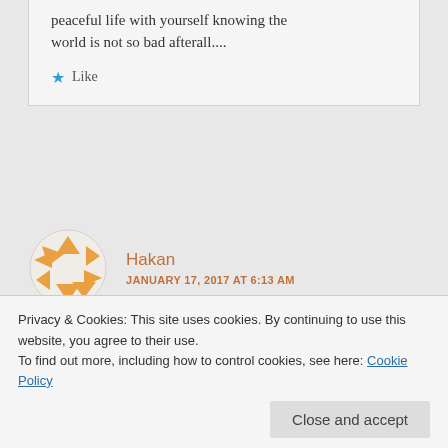peaceful life with yourself knowing the world is not so bad afterall....
Like
Hakan
JANUARY 17, 2017 AT 6:13 AM
Hi All,
I read your comments. I am from Turkey and lived in Romania 13 years. I worked there on top
and it is a pleasure to be the part of my team. All
Privacy & Cookies: This site uses cookies. By continuing to use this website, you agree to their use.
To find out more, including how to control cookies, see here: Cookie Policy
Close and accept